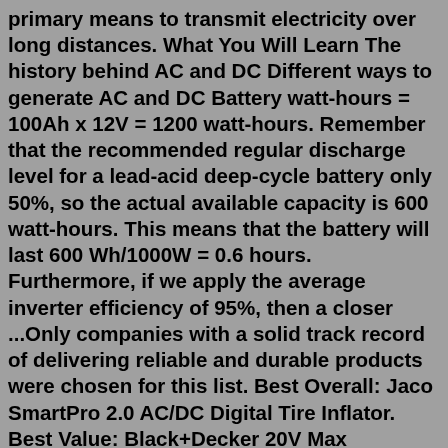primary means to transmit electricity over long distances. What You Will Learn The history behind AC and DC Different ways to generate AC and DC Battery watt-hours = 100Ah x 12V = 1200 watt-hours. Remember that the recommended regular discharge level for a lead-acid deep-cycle battery only 50%, so the actual available capacity is 600 watt-hours. This means that the battery will last 600 Wh/1000W = 0.6 hours. Furthermore, if we apply the average inverter efficiency of 95%, then a closer ...Only companies with a solid track record of delivering reliable and durable products were chosen for this list. Best Overall: Jaco SmartPro 2.0 AC/DC Digital Tire Inflator. Best Value: Black+Decker 20V Max Cordless Tire Inflator. Honorable Mention: Craftsman V20 20 V 160 psi Cordless Inflator. Best Premium: DeWalt 20V Max Tire Inflator.DC or (Direct current) electricity is what solar panels produce and what batteries hold in storage, while alternating current (AC) electricity is the type used on the grid and in most household devices. A device called an inverter i